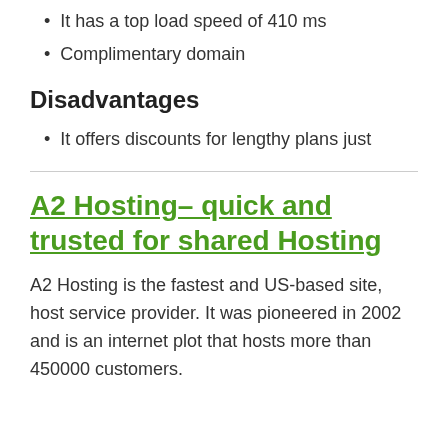It has a top load speed of 410 ms
Complimentary domain
Disadvantages
It offers discounts for lengthy plans just
A2 Hosting– quick and trusted for shared Hosting
A2 Hosting is the fastest and US-based site, host service provider. It was pioneered in 2002 and is an internet plot that hosts more than 450000 customers.